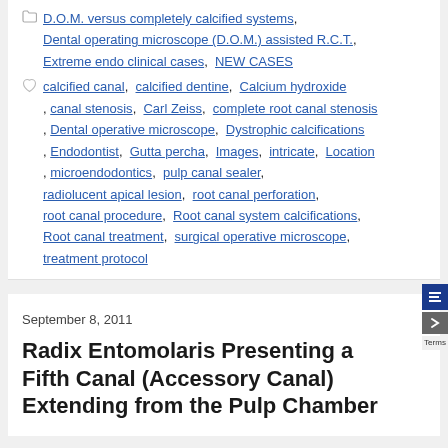D.O.M. versus completely calcified systems, Dental operating microscope (D.O.M.) assisted R.C.T., Extreme endo clinical cases, NEW CASES
calcified canal, calcified dentine, Calcium hydroxide, canal stenosis, Carl Zeiss, complete root canal stenosis, Dental operative microscope, Dystrophic calcifications, Endodontist, Gutta percha, Images, intricate, Location, microendodontics, pulp canal sealer, radiolucent apical lesion, root canal perforation, root canal procedure, Root canal system calcifications, Root canal treatment, surgical operative microscope, treatment protocol
September 8, 2011
Radix Entomolaris Presenting a Fifth Canal (Accessory Canal) Extending from the Pulp Chamber